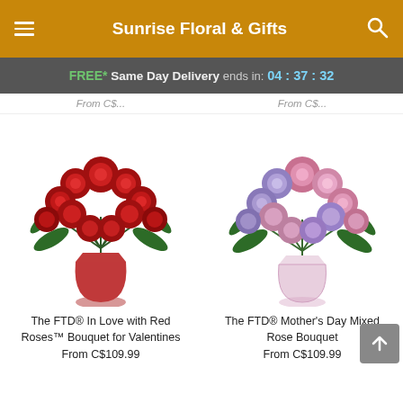Sunrise Floral & Gifts
FREE* Same Day Delivery ends in: 04:37:32
From C$...  From C$...
[Figure (photo): The FTD® In Love with Red Roses™ Bouquet for Valentines - red roses in a red vase]
[Figure (photo): The FTD® Mother's Day Mixed Rose Bouquet - pink and lavender roses in a clear vase]
The FTD® In Love with Red Roses™ Bouquet for Valentines
From C$109.99
The FTD® Mother's Day Mixed Rose Bouquet
From C$109.99